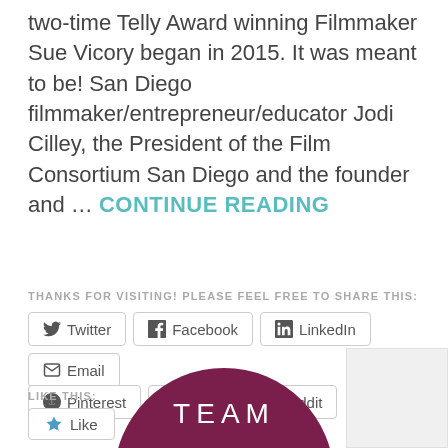two-time Telly Award winning Filmmaker Sue Vicory began in 2015. It was meant to be! San Diego filmmaker/entrepreneur/educator Jodi Cilley, the President of the Film Consortium San Diego and the founder and … CONTINUE READING
THANKS FOR VISITING! PLEASE FEEL FREE TO SHARE THIS:
Twitter | Facebook | LinkedIn | Email | Pinterest | Print | Reddit
LIKE THIS:
Like
Be the first to like this.
[Figure (illustration): Circular dark maroon/burgundy badge partially visible at bottom of page with white text reading TEAM]